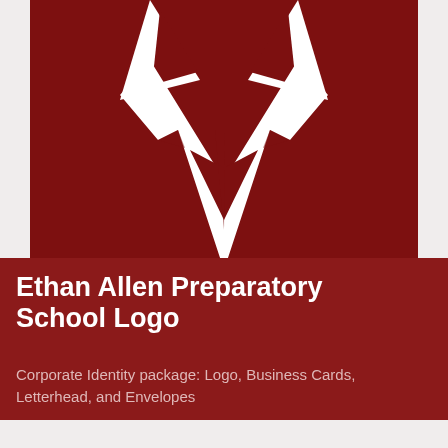[Figure (logo): Ethan Allen Preparatory School logo — dark red/maroon square background with a white stylized wolf or fox head graphic in the center, showing geometric angular shapes forming the animal face]
Ethan Allen Preparatory School Logo
Corporate Identity package: Logo, Business Cards, Letterhead, and Envelopes